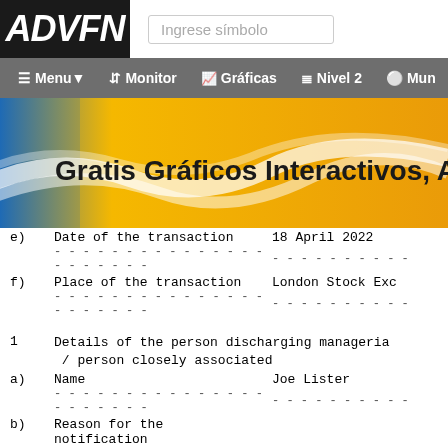ADVFN | Ingrese símbolo | Menu | Monitor | Gráficas | Nivel 2 | Mun
[Figure (screenshot): ADVFN website banner with text 'Gratis Gráficos Interactivos, Análisis Técn' on a gold/blue gradient background with wave design]
| e) | Date of the transaction | 18 April 2022 |
| f) | Place of the transaction | London Stock Exchange |
| 1 | Details of the person discharging managerial responsibilities / person closely associated |  |
| a) | Name | Joe Lister |
| b) | Reason for the notification |  |